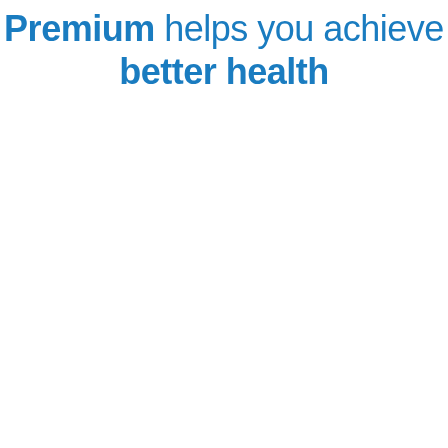Premium helps you achieve better health